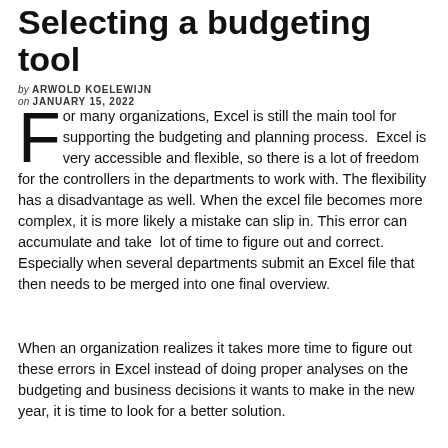Selecting a budgeting tool
by ARWOLD KOELEWIJN
on JANUARY 15, 2022
For many organizations, Excel is still the main tool for supporting the budgeting and planning process. Excel is very accessible and flexible, so there is a lot of freedom for the controllers in the departments to work with. The flexibility has a disadvantage as well. When the excel file becomes more complex, it is more likely a mistake can slip in. This error can accumulate and take lot of time to figure out and correct. Especially when several departments submit an Excel file that then needs to be merged into one final overview.
When an organization realizes it takes more time to figure out these errors in Excel instead of doing proper analyses on the budgeting and business decisions it wants to make in the new year, it is time to look for a better solution.